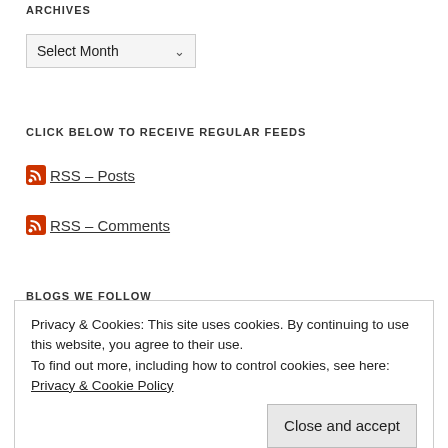ARCHIVES
[Figure (other): Select Month dropdown widget]
CLICK BELOW TO RECEIVE REGULAR FEEDS
RSS – Posts
RSS – Comments
BLOGS WE FOLLOW
Privacy & Cookies: This site uses cookies. By continuing to use this website, you agree to their use.
To find out more, including how to control cookies, see here: Privacy & Cookie Policy
Close and accept
neetsmarketing